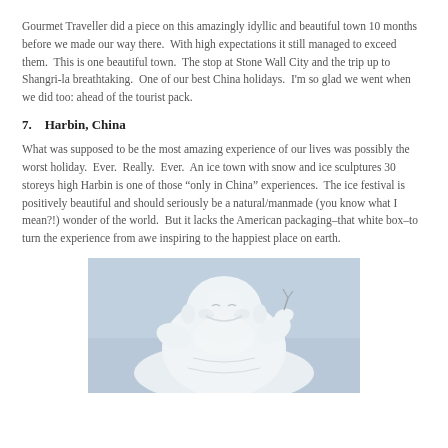Gourmet Traveller did a piece on this amazingly idyllic and beautiful town 10 months before we made our way there.  With high expectations it still managed to exceed them.  This is one beautiful town.  The stop at Stone Wall City and the trip up to Shangri-la breathtaking.  One of our best China holidays.  I'm so glad we went when we did too: ahead of the tourist pack.
7.   Harbin, China
What was supposed to be the most amazing experience of our lives was possibly the worst holiday.  Ever.  Really.  Ever.  An ice town with snow and ice sculptures 30 storeys high Harbin is one of those “only in China” experiences.  The ice festival is positively beautiful and should seriously be a natural/manmade (you know what I mean?!) wonder of the world.  But it lacks the American packaging–that white box–to turn the experience from awe inspiring to the happiest place on earth.
[Figure (photo): A large white snow/ice sculpture of a laughing Buddha figure against a pale blue sky background at the Harbin Ice Festival.]